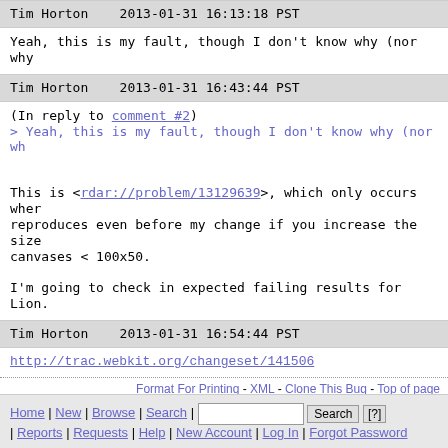Tim Horton   2013-01-31 16:13:18 PST
Yeah, this is my fault, though I don't know why (nor why
Tim Horton   2013-01-31 16:43:44 PST
(In reply to comment #2)
> Yeah, this is my fault, though I don't know why (nor wh
This is <rdar://problem/13129639>, which only occurs wher
reproduces even before my change if you increase the size
canvases < 100x50.

I'm going to check in expected failing results for Lion.
Tim Horton   2013-01-31 16:54:44 PST
http://trac.webkit.org/changeset/141506
Format For Printing - XML - Clone This Bug - Top of page
Home | New | Browse | Search | [Search box] | Search | [?] | Reports | Requests | Help | New Account | Log In | Forgot Password